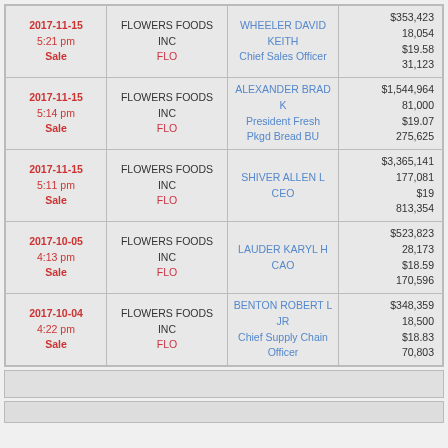| Date/Time/Type | Company | Insider | Values |
| --- | --- | --- | --- |
| 2017-11-15
5:21 pm
Sale | FLOWERS FOODS INC
FLO | WHEELER DAVID KEITH
Chief Sales Officer | $353,423
18,054
$19.58
31,123 |
| 2017-11-15
5:14 pm
Sale | FLOWERS FOODS INC
FLO | ALEXANDER BRAD K
President Fresh Pkgd Bread BU | $1,544,964
81,000
$19.07
275,625 |
| 2017-11-15
5:11 pm
Sale | FLOWERS FOODS INC
FLO | SHIVER ALLEN L
CEO | $3,365,141
177,081
$19
813,354 |
| 2017-10-05
4:13 pm
Sale | FLOWERS FOODS INC
FLO | LAUDER KARYL H
CAO | $523,823
28,173
$18.59
170,596 |
| 2017-10-04
4:22 pm
Sale | FLOWERS FOODS INC
FLO | BENTON ROBERT L JR
Chief Supply Chain Officer | $348,359
18,500
$18.83
70,803 |